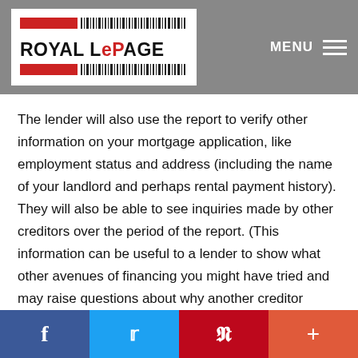[Figure (logo): Royal LePage logo with red bars and barcode motif on white background]
MENU
The lender will also use the report to verify other information on your mortgage application, like employment status and address (including the name of your landlord and perhaps rental payment history). They will also be able to see inquiries made by other creditors over the period of the report. (This information can be useful to a lender to show what other avenues of financing you might have tried and may raise questions about why another creditor declined to lend it to you.)
f  t  p  +